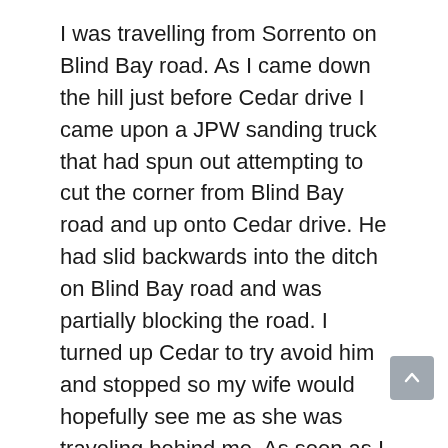I was travelling from Sorrento on Blind Bay road. As I came down the hill just before Cedar drive I came upon a JPW sanding truck that had spun out attempting to cut the corner from Blind Bay road and up onto Cedar drive. He had slid backwards into the ditch on Blind Bay road and was partially blocking the road. I turned up Cedar to try avoid him and stopped so my wife would hopefully see me as she was traveling behind me. As soon as I stopped I began to slide down Cedar onto Blind Bay Road and sideways into the snow blade of the JPW truck. Why had the driver not installed the chains that were hanging in front of the back tires BEFORE attempting to drive up Cedar? What was he going to do once he got onto Cedar. Has he never travelled